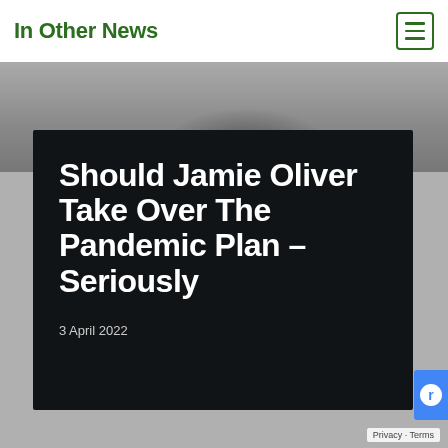In Other News
[Figure (photo): Blurred grayscale photo of a person's head from behind, used as a background image strip]
Should Jamie Oliver Take Over The Pandemic Plan – Seriously
3 April 2022
Privacy - Terms